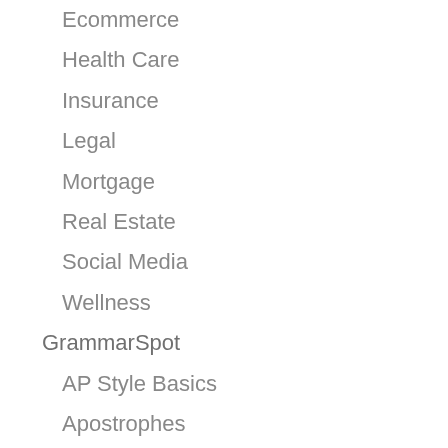Ecommerce
Health Care
Insurance
Legal
Mortgage
Real Estate
Social Media
Wellness
GrammarSpot
AP Style Basics
Apostrophes
Collaboration Corner
Commas
Commonly Confused Words